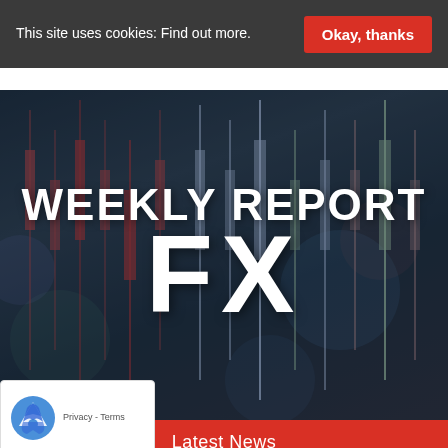This site uses cookies: Find out more.
Okay, thanks
WEEKLY REPORT FX
Latest News
[Figure (logo): reCAPTCHA logo with Privacy - Terms text]
UST 2022   (4)
MMM 2022   (4)